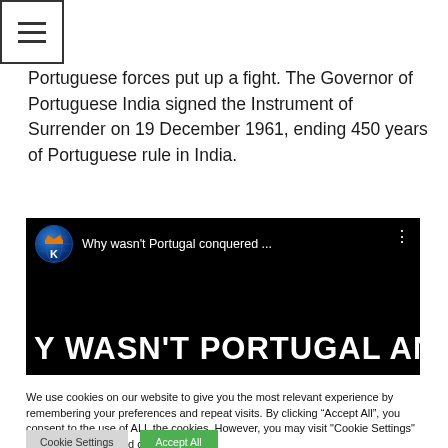[Figure (screenshot): Hamburger menu icon button with three horizontal lines inside a square border]
Portuguese forces put up a fight. The Governor of Portuguese India signed the Instrument of Surrender on 19 December 1961, ending 450 years of Portuguese rule in India.
[Figure (screenshot): YouTube video thumbnail showing channel icon with orange crown and K letter on blue globe, video title 'Why wasn't Portugal conquered ...' in top bar, and large bold text 'Y WASN'T PORTUGAL ANN' in the lower portion on black background]
We use cookies on our website to give you the most relevant experience by remembering your preferences and repeat visits. By clicking "Accept All", you consent to the use of ALL the cookies. However, you may visit "Cookie Settings" to provide a controlled consent.
Cookie Settings   Accept All